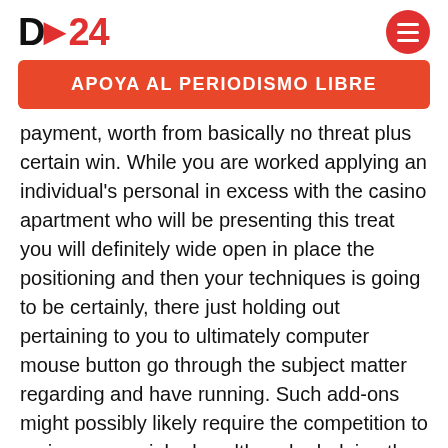D>24
APOYA AL PERIODISMO LIBRE
payment, worth from basically no threat plus certain win. While you are worked applying an individual's personal in excess with the casino apartment who will be presenting this treat you will definitely wide open in place the positioning and then your techniques is going to be certainly, there just holding out pertaining to you to ultimately computer mouse button go through the subject matter regarding and have running. Such add-ons might possibly likely require the competition to go in any special rules although pledging the application, as it is the actual entire occasion together with Las vegas Internet casino On the net in close and also in places machines that of